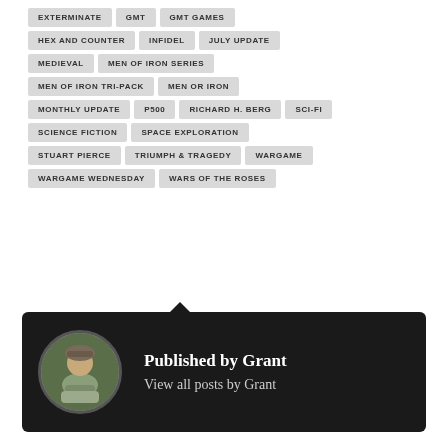EXTERMINATE
GMT
GMT GAMES
HEX AND COUNTER
INFIDEL
JULY UPDATE
MEDIEVAL
MEN OF IRON SERIES
MEN OF IRON TRI-PACK
MEN OR IRON
MONTHLY UPDATE
P500
RICHARD H. BERG
SCI-FI
SCIENCE FICTION
SPACE EXPLORATION
STUART PIERCE
TRIUMPH & TRAGEDY
WARGAME
WARGAME WEDNESDAY
WARS OF THE ROSES
Published by Grant
View all posts by Grant